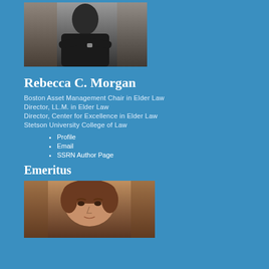[Figure (photo): Portrait photo of Rebecca C. Morgan in dark clothing with arms crossed]
Rebecca C. Morgan
Boston Asset Management Chair in Elder Law
Director, LL.M. in Elder Law
Director, Center for Excellence in Elder Law
Stetson University College of Law
Profile
Email
SSRN Author Page
Emeritus
[Figure (photo): Portrait photo of an emeritus faculty member with brown hair]